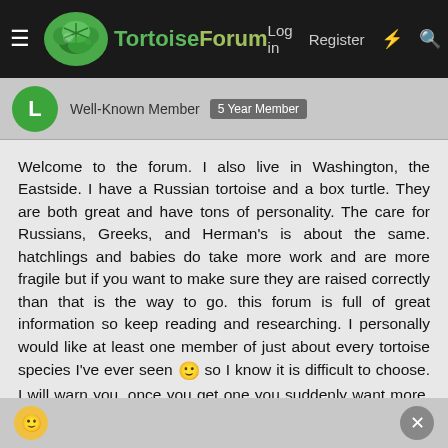TortoiseForum — Log in  Register
Well-Known Member  5 Year Member
Welcome to the forum. I also live in Washington, the Eastside. I have a Russian tortoise and a box turtle. They are both great and have tons of personality. The care for Russians, Greeks, and Herman's is about the same. hatchlings and babies do take more work and are more fragile but if you want to make sure they are raised correctly than that is the way to go. this forum is full of great information so keep reading and researching. I personally would like at least one member of just about every tortoise species I've ever seen 🙂 so I know it is difficult to choose. I will warn you, once you get one you suddenly want more. By the way, you have probably already been told this but never leave your dogs alone with your tortoise, the dogs think they are great you toys. I have a box turtle given to me that was chewed on by dogs. Keep asking questions, and once you get your little tortoise don't forget to give us a lot of pictures, we love pictures around here